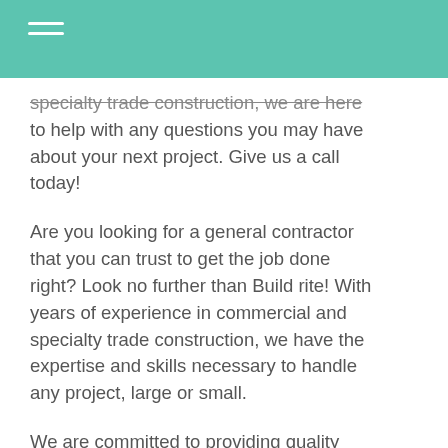specialty trade construction, we are here to help with any questions you may have about your next project. Give us a call today!
Are you looking for a general contractor that you can trust to get the job done right? Look no further than Build rite! With years of experience in commercial and specialty trade construction, we have the expertise and skills necessary to handle any project, large or small.
We are committed to providing quality artistry and outstanding customer service,